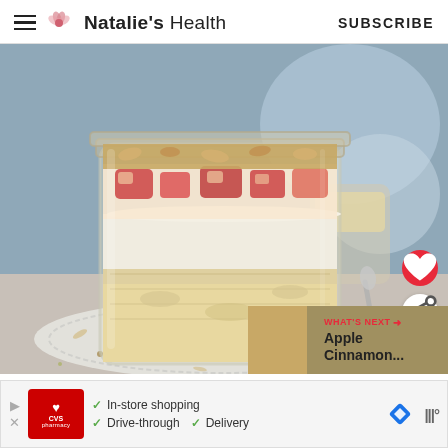Natalie's Health | SUBSCRIBE
[Figure (photo): Glass jar filled with layered overnight oats, topped with chopped red apples and granola, placed on a white lace doily with scattered oats and seeds. A second jar is visible in the background along with a spoon.]
WHAT'S NEXT → Apple Cinnamon...
[Figure (infographic): Advertisement banner for CVS Pharmacy showing In-store shopping, Drive-through, and Delivery options with checkmarks.]